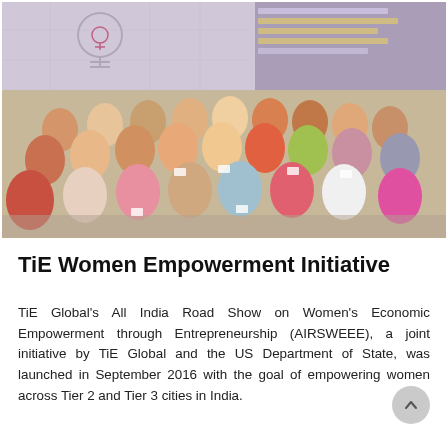[Figure (photo): Group photo of women at the TiE Women Empowerment Initiative event. A large group of approximately 30 women and a few men pose together indoors in front of a banner reading 'All India Roadshow on Women's Economic Empowerment through Entrepreneurship'. The participants are dressed in a mix of traditional Indian and Western attire.]
TiE Women Empowerment Initiative
TiE Global's All India Road Show on Women's Economic Empowerment through Entrepreneurship (AIRSWEEE), a joint initiative by TiE Global and the US Department of State, was launched in September 2016 with the goal of empowering women across Tier 2 and Tier 3 cities in India.